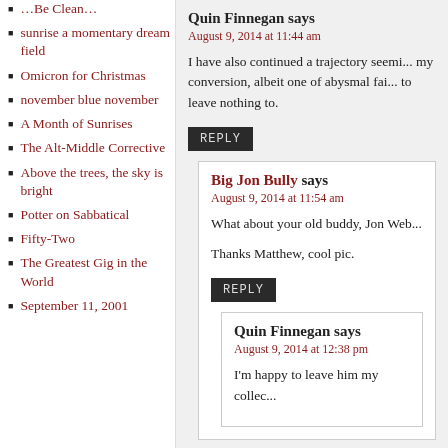…Be Clean…
sunrise a momentary dream field
Omicron for Christmas
november blue november
A Month of Sunrises
The Alt-Middle Corrective
Above the trees, the sky is bright
Potter on Sabbatical
Fifty-Two
The Greatest Gig in the World
September 11, 2001
Quin Finnegan says
August 9, 2014 at 11:44 am
I have also continued a trajectory seemi... my conversion, albeit one of abysmal fai... to leave nothing to.
REPLY
Big Jon Bully says
August 9, 2014 at 11:54 am
What about your old buddy, Jon Web...
Thanks Matthew, cool pic.
REPLY
Quin Finnegan says
August 9, 2014 at 12:38 pm
I'm happy to leave him my collec...